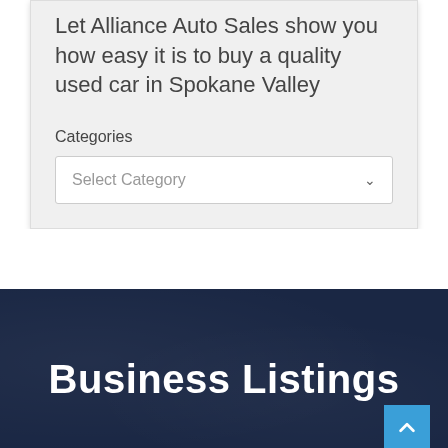Let Alliance Auto Sales show you how easy it is to buy a quality used car in Spokane Valley
Categories
Select Category
Business Listings